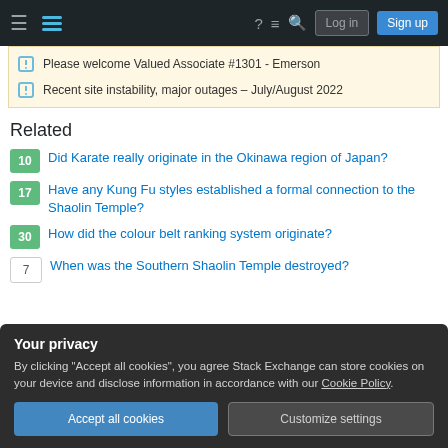Stack Exchange navigation bar with Log in and Sign up buttons
Please welcome Valued Associate #1301 - Emerson
Recent site instability, major outages – July/August 2022
Related
10 - Did Karate really originate in the Okinawa region of Japan?
17 - Have any Kung Fu styles established a formal connection to the Shaolin Temple?
30 - How did the colour belt ranking system originate?
7 - When was the Southern Shaolin Temple destroyed?
Your privacy
By clicking "Accept all cookies", you agree Stack Exchange can store cookies on your device and disclose information in accordance with our Cookie Policy.
Accept all cookies | Customize settings